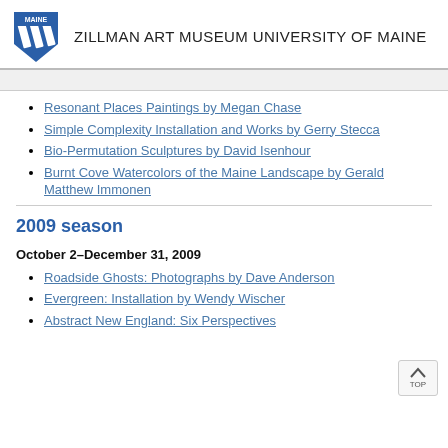ZILLMAN ART MUSEUM UNIVERSITY OF MAINE
Resonant Places Paintings by Megan Chase
Simple Complexity Installation and Works by Gerry Stecca
Bio-Permutation Sculptures by David Isenhour
Burnt Cove Watercolors of the Maine Landscape by Gerald Matthew Immonen
2009 season
October 2–December 31, 2009
Roadside Ghosts: Photographs by Dave Anderson
Evergreen: Installation by Wendy Wischer
Abstract New England: Six Perspectives